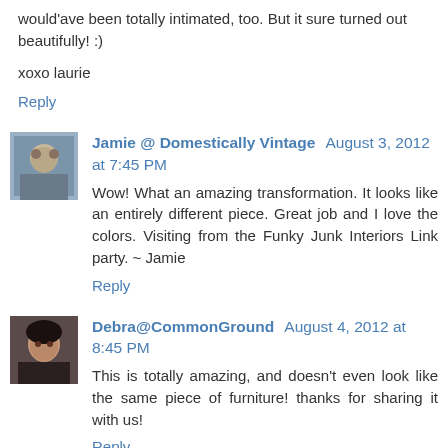would'ave been totally intimated, too. But it sure turned out beautifully! :)
xoxo laurie
Reply
Jamie @ Domestically Vintage  August 3, 2012 at 7:45 PM
Wow! What an amazing transformation. It looks like an entirely different piece. Great job and I love the colors. Visiting from the Funky Junk Interiors Link party. ~ Jamie
Reply
Debra@CommonGround  August 4, 2012 at 8:45 PM
This is totally amazing, and doesn't even look like the same piece of furniture! thanks for sharing it with us!
Reply